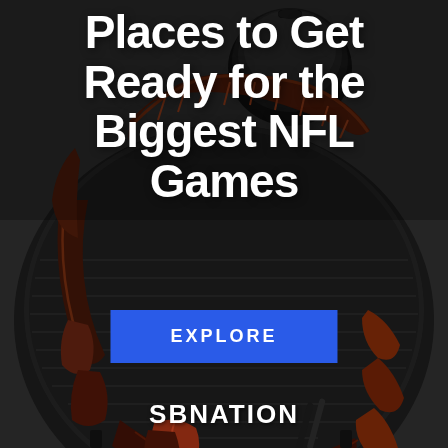[Figure (photo): Overhead view of a large round black kettle grill loaded with barbecued ribs, sausages, and other grilled meats arranged in a circle on the grill grates. A black cast iron Dutch oven sits at the top of the grill. The photo is taken from slightly above, showing the full grill surface with dark, charred meats.]
Places to Get Ready for the Biggest NFL Games
EXPLORE
SBNATION